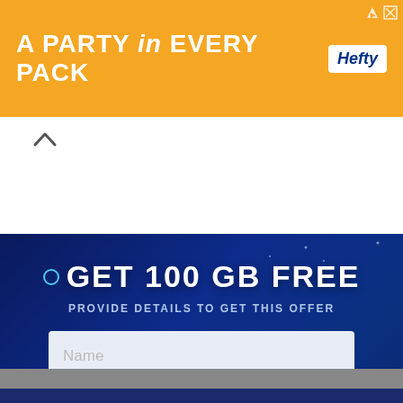[Figure (infographic): Orange banner advertisement: 'A PARTY in EVERY PACK' with Hefty logo on the right]
[Figure (screenshot): Dark blue tech-themed signup form panel with circuit board background, offering 'GET 100 GB FREE'. Contains Name and Email input fields and an orange SUBMIT button.]